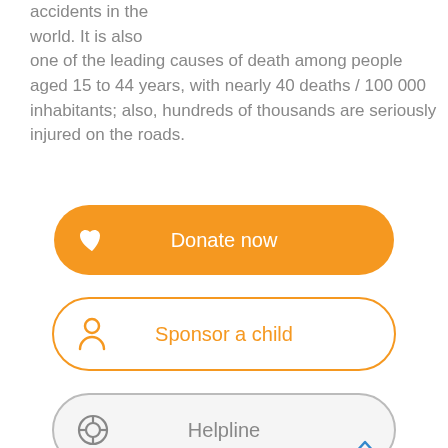accidents in the world. It is also one of the leading causes of death among people aged 15 to 44 years, with nearly 40 deaths / 100 000 inhabitants; also, hundreds of thousands are seriously injured on the roads.
[Figure (infographic): Orange rounded button with heart icon and text 'Donate now']
[Figure (infographic): White rounded button with orange border, person icon and text 'Sponsor a child']
[Figure (infographic): Light gray rounded button with gray border, lifebuoy icon and text 'Helpline', with upward chevron at bottom right]